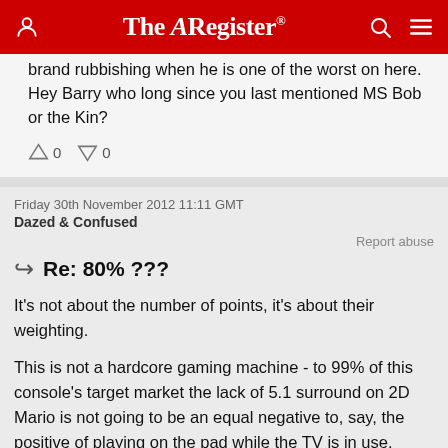The Register
brand rubbishing when he is one of the worst on here. Hey Barry who long since you last mentioned MS Bob or the Kin?
↑0  ↓0
Friday 30th November 2012 11:11 GMT
Dazed & Confused
Report abuse
Re: 80% ???
It's not about the number of points, it's about their weighting.

This is not a hardcore gaming machine - to 99% of this console's target market the lack of 5.1 surround on 2D Mario is not going to be an equal negative to, say, the positive of playing on the pad while the TV is in use.